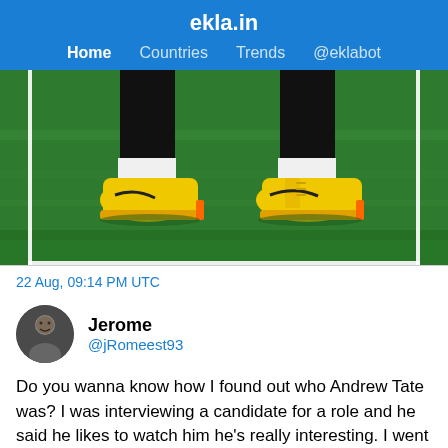ekla.in
Home  Countries  Trends  @eklabot
[Figure (photo): Close-up photo of a soccer/football player's feet wearing bright yellow Nike cleats on a green grass pitch, black socks visible, from approximately knee-down]
22 Aug, 09:14 PM UTC
Jerome @jRomeest93
Do you wanna know how I found out who Andrew Tate was? I was interviewing a candidate for a role and he said he likes to watch him he's really interesting. I went to check it out later that evening and he was honestly better off saying he does cocaine in his free time.